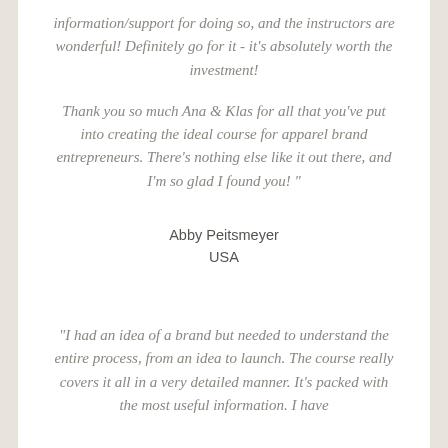information/support for doing so, and the instructors are wonderful! Definitely go for it - it's absolutely worth the investment!
Thank you so much Ana & Klas for all that you've put into creating the ideal course for apparel brand entrepreneurs. There's nothing else like it out there, and I'm so glad I found you! "
Abby Peitsmeyer
USA
"I had an idea of a brand but needed to understand the entire process, from an idea to launch. The course really covers it all in a very detailed manner. It's packed with the most useful information. I have